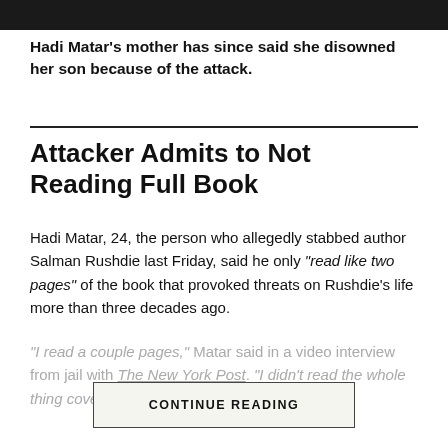[Figure (photo): Dark photo strip at top of page]
Hadi Matar's mother has since said she disowned her son because of the attack.
Attacker Admits to Not Reading Full Book
Hadi Matar, 24, the person who allegedly stabbed author Salman Rushdie last Friday, said he only “read like two pages” of the book that provoked threats on Rushdie’s life more than three decades ago.
“I read a couple pages,” Matar said in a video interview from jail with The New York Post. “I didn’t read the whole thing cover to cover.”